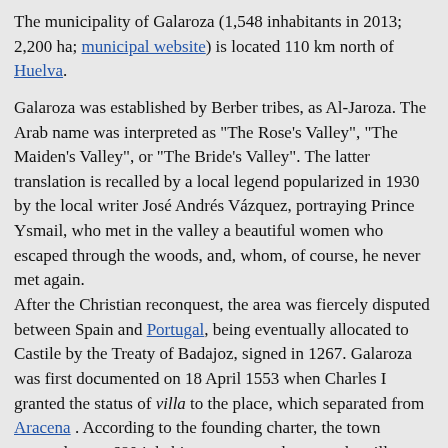The municipality of Galaroza (1,548 inhabitants in 2013; 2,200 ha; municipal website) is located 110 km north of Huelva.
Galaroza was established by Berber tribes, as Al-Jaroza. The Arab name was interpreted as "The Rose's Valley", "The Maiden's Valley", or "The Bride's Valley". The latter translation is recalled by a local legend popularized in 1930 by the local writer José Andrés Vázquez, portraying Prince Ysmail, who met in the valley a beautiful women who escaped through the woods, and, whom, of course, he never met again.
After the Christian reconquest, the area was fiercely disputed between Spain and Portugal, being eventually allocated to Castile by the Treaty of Badajoz, signed in 1267. Galaroza was first documented on 18 April 1553 when Charles I granted the status of villa to the place, which separated from Aracena . According to the founding charter, the town counted some 680 inhabitants, scattered among the villages of Galaroza, Fuenteheridos, Navahermosa, Las Cañadas, Las Chinas, Cortegrullo, and Las Vegas. Galaroza was acquired in 1559 by Fadrique Enríquez de Ribera, Count of Alcalá; the town was transferred in 1756 to the County of Altamira.
Ivan Sache, 24 August 2016